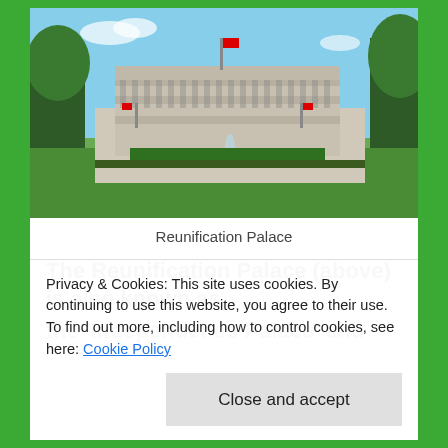[Figure (photo): Photograph of Reunification Palace, a large modernist government building with flags, green lawn, and fountain in front, blue sky background]
Reunification Palace
The Reunification Palace (above) is also known as the 'Independence Palace' and was the building
Privacy & Cookies: This site uses cookies. By continuing to use this website, you agree to their use.
To find out more, including how to control cookies, see here: Cookie Policy